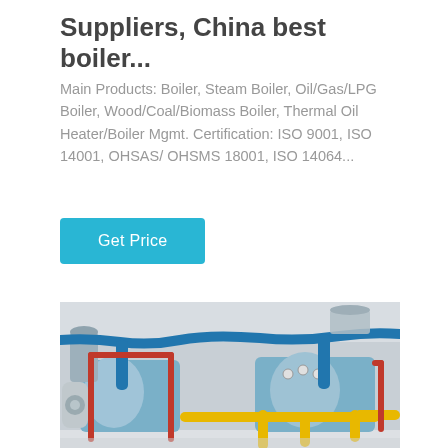Suppliers, China best boiler...
Main Products: Boiler, Steam Boiler, Oil/Gas/LPG Boiler, Wood/Coal/Biomass Boiler, Thermal Oil Heater/Boiler Mgmt. Certification: ISO 9001, ISO 14001, OHSAS/ OHSMS 18001, ISO 14064...
Get Price
[Figure (photo): Industrial boiler room with two large blue cylindrical boilers connected by blue and red pipes, with yellow gas piping in the foreground, in a white industrial facility.]